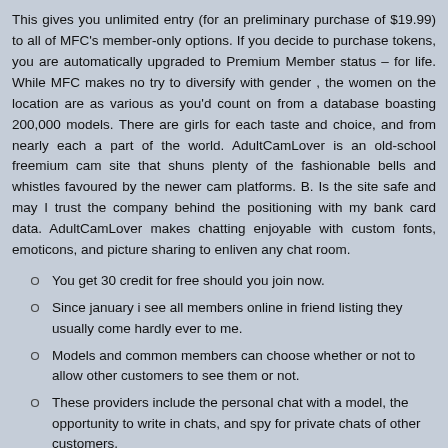This gives you unlimited entry (for an preliminary purchase of $19.99) to all of MFC's member-only options. If you decide to purchase tokens, you are automatically upgraded to Premium Member status – for life. While MFC makes no try to diversify with gender , the women on the location are as various as you'd count on from a database boasting 200,000 models. There are girls for each taste and choice, and from nearly each a part of the world. AdultCamLover is an old-school freemium cam site that shuns plenty of the fashionable bells and whistles favoured by the newer cam platforms. B. Is the site safe and may I trust the company behind the positioning with my bank card data. AdultCamLover makes chatting enjoyable with custom fonts, emoticons, and picture sharing to enliven any chat room.
You get 30 credit for free should you join now.
Since january i see all members online in friend listing they usually come hardly ever to me.
Models and common members can choose whether or not to allow other customers to see them or not.
These providers include the personal chat with a model, the opportunity to write in chats, and spy for private chats of other customers.
The women are true performers, they usually deliver premium attractive content material for the great worth of free.